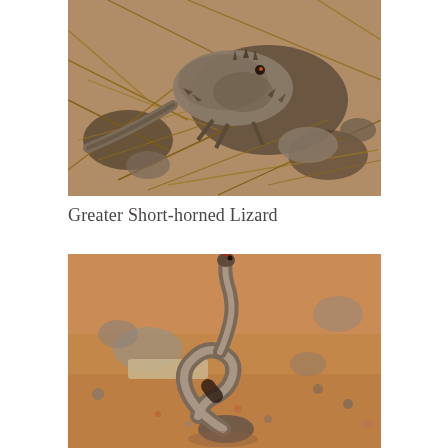[Figure (photo): Close-up photograph of a Greater Short-horned Lizard camouflaged among dry pine needles and small rocks on the ground. The lizard has a flat, spiny body with mottled gray-brown coloring blending into the debris.]
Greater Short-horned Lizard
[Figure (photo): Photograph of what appears to be a rattlesnake rearing up vertically on sandy, rocky desert ground. The snake is coiled at the base with its body raised upright, showing its patterned brown and white scales against the reddish-brown sandy soil.]